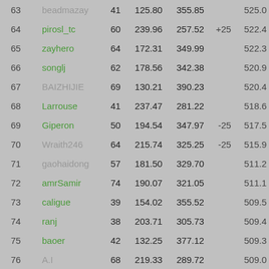| # | Name | Games | Col3 | Col4 | Bonus | Total |
| --- | --- | --- | --- | --- | --- | --- |
| 63 | beadmazay | 41 | 125.80 | 355.85 |  | 525.0 |
| 64 | pirosl_tc | 60 | 239.96 | 257.52 | +25 | 522.4 |
| 65 | zayhero | 64 | 172.31 | 349.99 |  | 522.3 |
| 66 | songlj | 62 | 178.56 | 342.38 |  | 520.9 |
| 67 | BAIZHIJIE | 69 | 130.21 | 390.23 |  | 520.4 |
| 68 | Larrouse | 41 | 237.47 | 281.22 |  | 518.6 |
| 69 | Giperon | 50 | 194.54 | 347.97 | -25 | 517.5 |
| 70 | Wraith246 | 64 | 215.74 | 325.25 | -25 | 515.9 |
| 71 | gaohaidong | 57 | 181.50 | 329.70 |  | 511.2 |
| 72 | amrSamir | 74 | 190.07 | 321.05 |  | 511.1 |
| 73 | caligue | 39 | 154.02 | 355.52 |  | 509.5 |
| 74 | ranj | 38 | 203.71 | 305.73 |  | 509.4 |
| 75 | baoer | 42 | 132.25 | 377.12 |  | 509.3 |
| 76 | A.I | 68 | 219.33 | 289.72 |  | 509.0 |
| 77 | Fara | 44 | 206.58 | 297.45 |  | 504.0 |